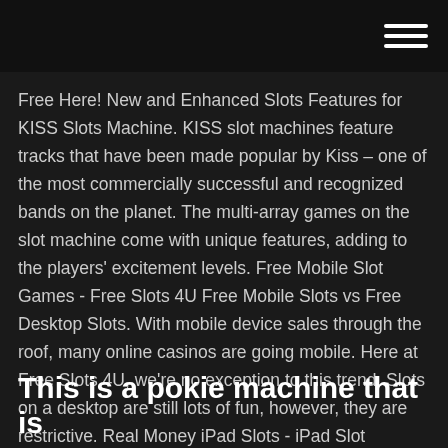Free Here! New and Enhanced Slots Features for KISS Slots Machine. KISS slot machines feature tracks that have been made popular by Kiss – one of the most commercially successful and recognized bands on the planet. The multi-array games on the slot machine come with unique features, adding to the players' excitement levels. Free Mobile Slot Games - Free Slots 4U Free Mobile Slots vs Free Desktop Slots. With mobile device sales through the roof, many online casinos are going mobile. Here at Free Slots 4U, we're no exception to this trend. Slots on a desktop are still lots of fun, however, they are restrictive. Real Money iPad Slots - iPad Slot Machine Casino Games
This is a pokie machine that is